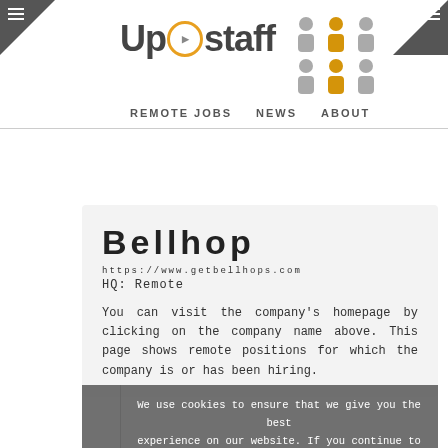Up2staff — REMOTE JOBS NEWS ABOUT
[Figure (illustration): Up2staff logo with orange circle containing a play icon for the '2', followed by navigation links: REMOTE JOBS, NEWS, ABOUT, and people icons on the right]
Bellhop
https://www.getbellhops.com
HQ: Remote
You can visit the company's homepage by clicking on the company name above. This page shows remote positions for which the company is or has been hiring.
We use cookies to ensure that we give you the best experience on our website. If you continue to use this site we will assume that you are happy with it. Ok